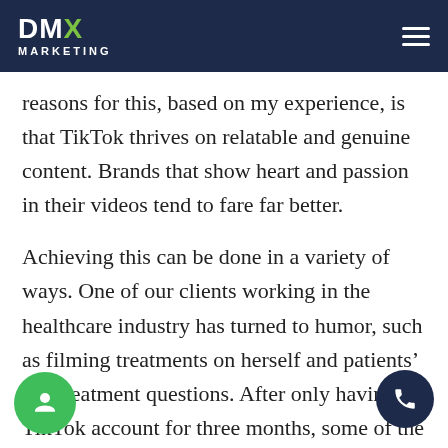DMX Marketing
reasons for this, based on my experience, is that TikTok thrives on relatable and genuine content. Brands that show heart and passion in their videos tend to fare far better.
Achieving this can be done in a variety of ways. One of our clients working in the healthcare industry has turned to humor, such as filming treatments on herself and patients’ pre-treatment questions. After only having a TikTok account for three months, some of the company’s videos gained over half a million views.